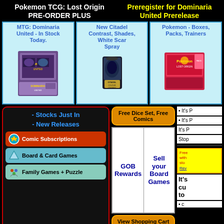Pokemon TCG: Lost Origin PRE-ORDER PLUS
Preregister for Dominaria United Prerelease
[Figure (screenshot): Product card: MTG: Dominaria United - In Stock Today. with product box image]
[Figure (screenshot): Product card: New Citadel Contrast, Shades, White Scar Spray with paint pot image]
[Figure (screenshot): Product card: Pokemon - Boxes, Packs, Trainers with Pokemon box image]
- Stocks Just In
- New Releases
Comic Subscriptions
Board & Card Games
Family Games + Puzzle
Free Dice Set, Free Comics
GOB Rewards
Sell your Board Games
View Shopping Cart
Board Games
It's P
Stop
Free with sto Rev
It's cu to
c